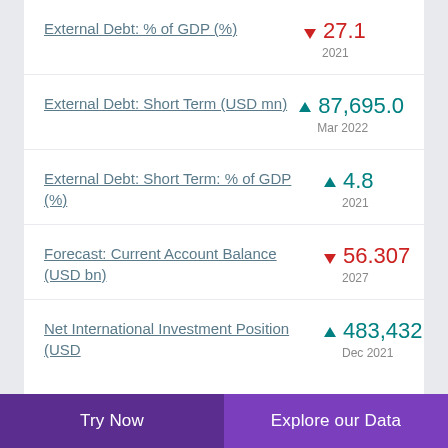External Debt: % of GDP (%) ▼ 27.1 2021
External Debt: Short Term (USD mn) ▲ 87,695.0 Mar 2022
External Debt: Short Term: % of GDP (%) ▲ 4.8 2021
Forecast: Current Account Balance (USD bn) ▼ 56.307 2027
Net International Investment Position (USD ...) ▲ 483,432.340 Dec 2021
Try Now | Explore our Data